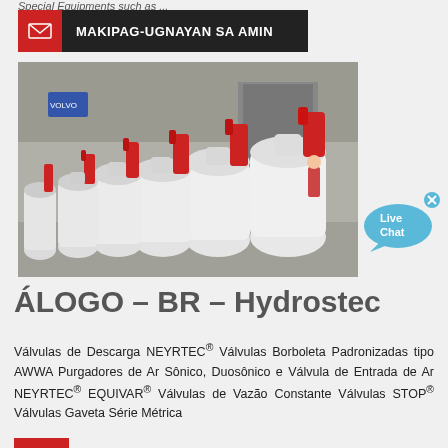Special Equipments such as ...
[Figure (infographic): Red and dark contact bar with envelope icon and text MAKIPAG-UGNAYAN SA AMIN]
[Figure (photo): Rows of large white industrial valves with red tops lined up in a factory warehouse setting]
[Figure (infographic): Live Chat speech bubble widget in cyan/blue color with an X close button]
ÁLOGO – BR – Hydrostec
Válvulas de Descarga NEYRTEC® Válvulas Borboleta Padronizadas tipo AWWA Purgadores de Ar Sônico, Duosônico e Válvula de Entrada de Ar NEYRTEC® EQUIVAR® Válvulas de Vazão Constante Válvulas STOP® Válvulas Gaveta Série Métrica